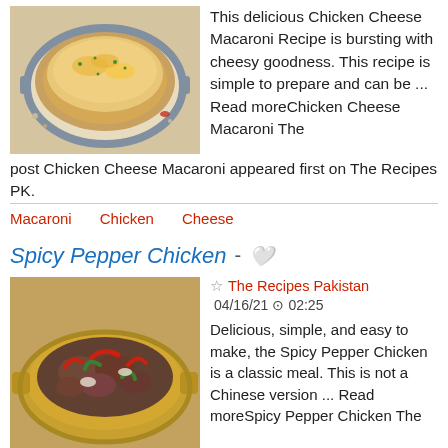[Figure (photo): Photo of chicken cheese macaroni dish in a baking pan with cheesy topping]
This delicious Chicken Cheese Macaroni Recipe is bursting with cheesy goodness. This recipe is simple to prepare and can be ... Read moreChicken Cheese Macaroni The post Chicken Cheese Macaroni appeared first on The Recipes PK.
Macaroni    Chicken    Cheese
Spicy Pepper Chicken
[Figure (photo): Photo of spicy pepper chicken dish in a golden pan with red chilies and green peppers]
☆ The Recipes Pakistan
04/16/21 ⊖ 02:25
Delicious, simple, and easy to make, the Spicy Pepper Chicken is a classic meal. This is not a Chinese version ... Read moreSpicy Pepper Chicken The post Spicy Pepper Chicken appeared first on The Recipes PK.
Chicken    Pepper    Spicy
Spicy Chicken Strips